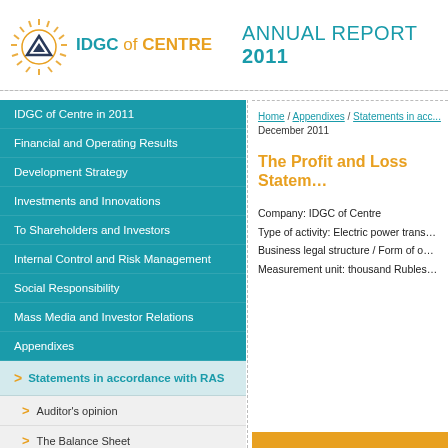[Figure (logo): IDGC of Centre logo with triangular symbol and wheat/sun decoration]
ANNUAL REPORT 2011
IDGC of Centre in 2011
Financial and Operating Results
Development Strategy
Investments and Innovations
To Shareholders and Investors
Internal Control and Risk Management
Social Responsibility
Mass Media and Investor Relations
Appendixes
Statements in accordance with RAS
Auditor's opinion
The Balance Sheet
Home / Appendixes / Statements in accordance with RAS December 2011
The Profit and Loss Statement
Company: IDGC of Centre
Type of activity: Electric power trans...
Business legal structure / Form of o...
Measurement unit: thousand Rubles...